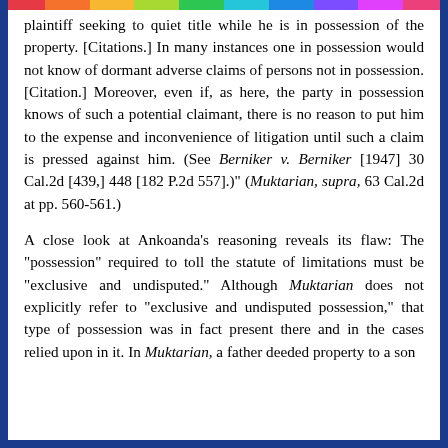plaintiff seeking to quiet title while he is in possession of the property. [Citations.] In many instances one in possession would not know of dormant adverse claims of persons not in possession. [Citation.] Moreover, even if, as here, the party in possession knows of such a potential claimant, there is no reason to put him to the expense and inconvenience of litigation until such a claim is pressed against him. (See Berniker v. Berniker [1947] 30 Cal.2d [439,] 448 [182 P.2d 557].)" (Muktarian, supra, 63 Cal.2d at pp. 560-561.)
A close look at Ankoanda's reasoning reveals its flaw: The "possession" required to toll the statute of limitations must be "exclusive and undisputed." Although Muktarian does not explicitly refer to "exclusive and undisputed possession," that type of possession was in fact present there and in the cases relied upon in it. In Muktarian, a father deeded property to a son